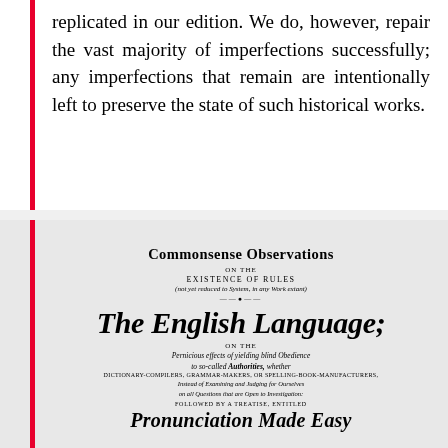replicated in our edition. We do, however, repair the vast majority of imperfections successfully; any imperfections that remain are intentionally left to preserve the state of such historical works.
[Figure (illustration): Scanned title page of a historical book. Shows 'Commonsense Observations on the Existence of Rules (not yet reduced to System, in any Work extant) concerning The English Language; on the Pernicious effects of yielding blind Obedience to so-called Authorities, whether Dictionary-Compilers, Grammar-Makers, or Spelling-Book-Manufacturers, instead of Examining and Judging for Ourselves on all Questions that are Open to Investigation: Followed by a Treatise, entitled Pronunciation Made Easy']